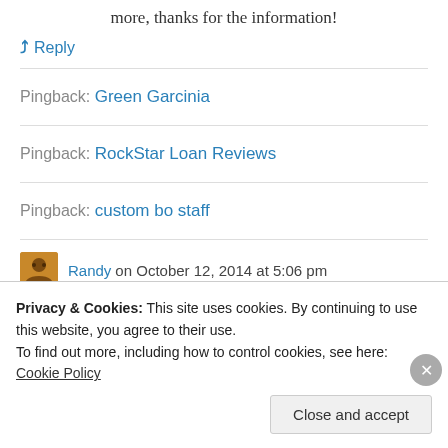more, thanks for the information!
↳ Reply
Pingback: Green Garcinia
Pingback: RockStar Loan Reviews
Pingback: custom bo staff
Randy on October 12, 2014 at 5:06 pm
Privacy & Cookies: This site uses cookies. By continuing to use this website, you agree to their use. To find out more, including how to control cookies, see here: Cookie Policy
Close and accept